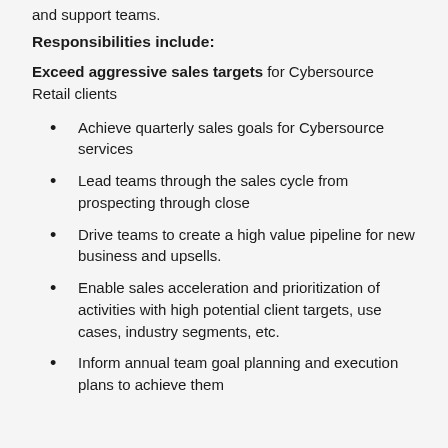and support teams.
Responsibilities include:
Exceed aggressive sales targets for Cybersource Retail clients
Achieve quarterly sales goals for Cybersource services
Lead teams through the sales cycle from prospecting through close
Drive teams to create a high value pipeline for new business and upsells.
Enable sales acceleration and prioritization of activities with high potential client targets, use cases, industry segments, etc.
Inform annual team goal planning and execution plans to achieve them